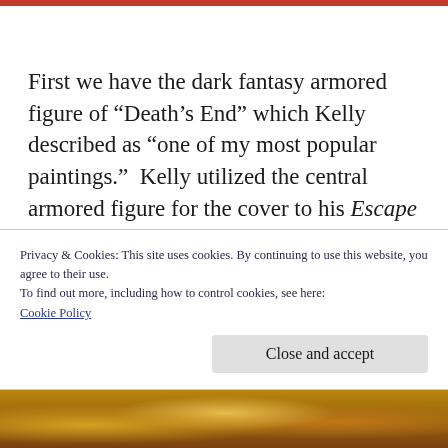First we have the dark fantasy armored figure of “Death’s End” which Kelly described as “one of my most popular paintings.”  Kelly utilized the central armored figure for the cover to his Escape collection. A limited edition 20” tall resin statue sculpted by Tony Cipriano was later i...
Privacy & Cookies: This site uses cookies. By continuing to use this website, you agree to their use.
To find out more, including how to control cookies, see here:
Cookie Policy
[Figure (photo): Bottom strip of a painting showing warm golden and amber tones, partial view of figures]